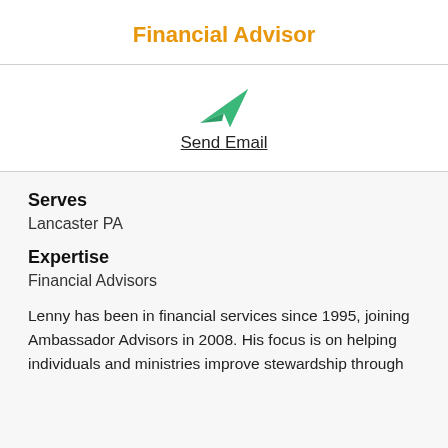Financial Advisor
[Figure (illustration): Green paper airplane / send email icon]
Send Email
Serves
Lancaster PA
Expertise
Financial Advisors
Lenny has been in financial services since 1995, joining Ambassador Advisors in 2008. His focus is on helping individuals and ministries improve stewardship through